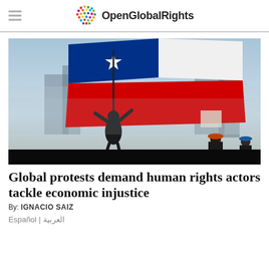OpenGlobalRights
[Figure (photo): Protest scene: a person raising a large Chilean flag (red, white, blue) above a crowd of protesters in an urban setting, silhouetted against a hazy sky.]
Global protests demand human rights actors tackle economic injustice
By: IGNACIO SAIZ
Español | العربية